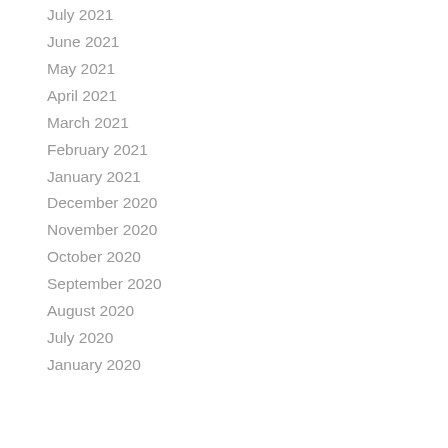July 2021
June 2021
May 2021
April 2021
March 2021
February 2021
January 2021
December 2020
November 2020
October 2020
September 2020
August 2020
July 2020
January 2020